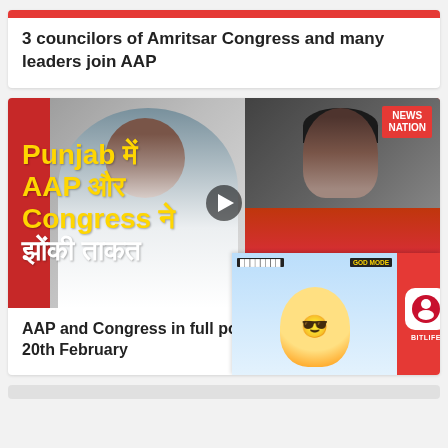3 councilors of Amritsar Congress and many leaders join AAP
[Figure (photo): News Nation video thumbnail showing Hindi text 'Punjab mein AAP aur Congress ne jhonki taakat' with photos of two political leaders]
AAP and Congress in full power in Punjab, voting on 20th February
[Figure (screenshot): BitLife mobile game advertisement with cartoon character and app icon]